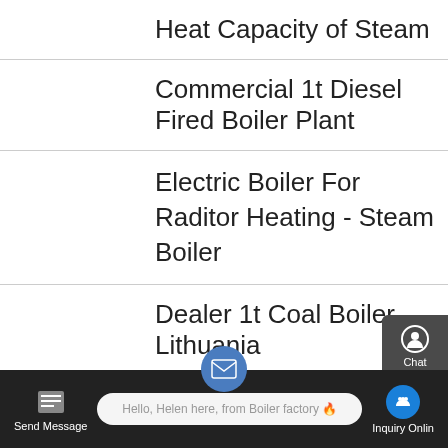Heat Capacity of Steam
Commercial 1t Diesel Fired Boiler Plant
Electric Boiler For Raditor Heating - Steam Boiler
Dealer 1t Coal Boiler Lithuania
5 ton coal fired boiler in uk - Clean Boiler Supplier
8t Gas Steam Boiler
Price 4t Biomass Boiler Armenia
Send Message   Hello, Helen here, from Boiler factory 🔥   Inquiry Online